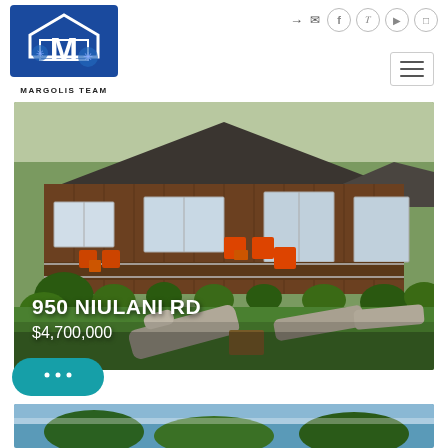[Figure (logo): Margolis Team real estate logo — blue square with white M and house outline]
MARGOLIS TEAM
[Figure (photo): Exterior photo of a single-story wooden house with a large deck featuring orange Adirondack chairs, surrounded by tropical greenery, with lounge chairs on the lawn in the foreground]
950 NIULANI RD
$4,700,000
[Figure (screenshot): Chat button with three dots (speech bubble icon) in teal/dark cyan color]
[Figure (photo): Partial bottom strip showing another property photo with blue sky and trees]